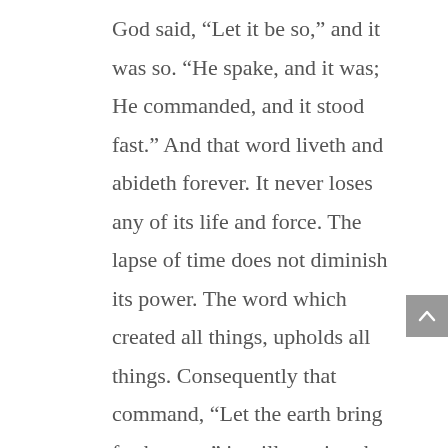God said, “Let it be so,” and it was so. “He spake, and it was; He commanded, and it stood fast.” And that word liveth and abideth forever. It never loses any of its life and force. The lapse of time does not diminish its power. The word which created all things, upholds all things. Consequently that command, “Let the earth bring forth grass,” is still causing the earth to bring forth grass, and herbs, and trees. If the effect of that word had ceased as soon as it was spoken, then there never would have been any more grass. The grass that was brought forth would have ceased to exist. And especially after the fall of man had brought the